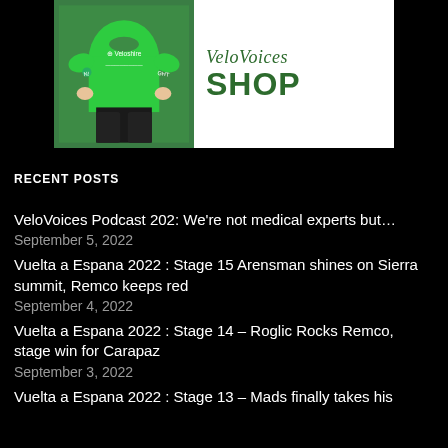[Figure (illustration): VeloVoices Shop banner with a person wearing a green Veloshire t-shirt on the left and 'VeloVoices SHOP' text in green on a white background on the right]
RECENT POSTS
VeloVoices Podcast 202: We're not medical experts but…
September 5, 2022
Vuelta a Espana 2022 : Stage 15 Arensman shines on Sierra summit, Remco keeps red
September 4, 2022
Vuelta a Espana 2022 : Stage 14 – Roglic Rocks Remco, stage win for Carapaz
September 3, 2022
Vuelta a Espana 2022 : Stage 13 – Mads finally takes his